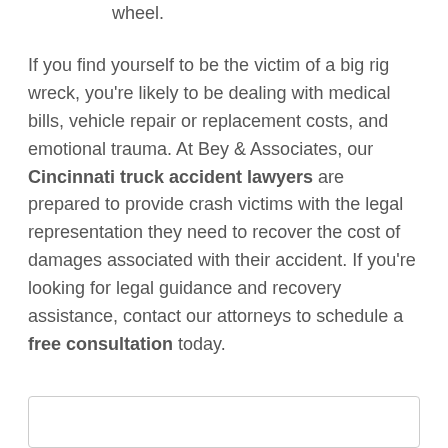wheel.
If you find yourself to be the victim of a big rig wreck, you're likely to be dealing with medical bills, vehicle repair or replacement costs, and emotional trauma. At Bey & Associates, our Cincinnati truck accident lawyers are prepared to provide crash victims with the legal representation they need to recover the cost of damages associated with their accident. If you're looking for legal guidance and recovery assistance, contact our attorneys to schedule a free consultation today.